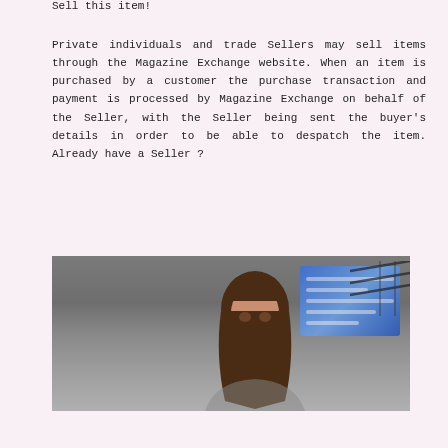Sell this item!
Private individuals and trade Sellers may sell items through the Magazine Exchange website. When an item is purchased by a customer the purchase transaction and payment is processed by Magazine Exchange on behalf of the Seller, with the Seller being sent the buyer's details in order to be able to despatch the item. Already have a Seller ?
[Figure (photo): Photo of a woman with long brown hair, partially visible face, in front of a blue digital tablet/screen and mechanical elements in the background]